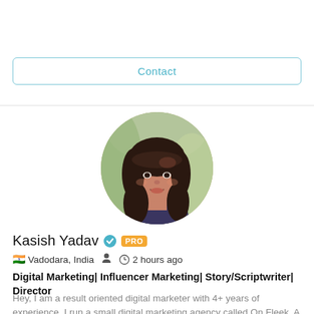Contact
[Figure (photo): Circular profile photo of a young woman with long dark hair, smiling, with a blurred outdoor background]
Kasish Yadav  ✓ PRO
🇮🇳 Vadodara, India   👤   🕐 2 hours ago
Digital Marketing| Influencer Marketing| Story/Scriptwriter| Director
Hey, I am a result oriented digital marketer with 4+ years of experience. I run a small digital marketing agency called On Fleek. A team of experts work with me...